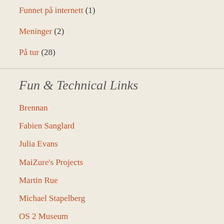Funnet på internett (1)
Meninger (2)
På tur (28)
Fun & Technical Links
Brennan
Fabien Sanglard
Julia Evans
MaiZure's Projects
Martin Rue
Michael Stapelberg
OS 2 Museum
Óscar Toledo G.
Pizza Box Computer